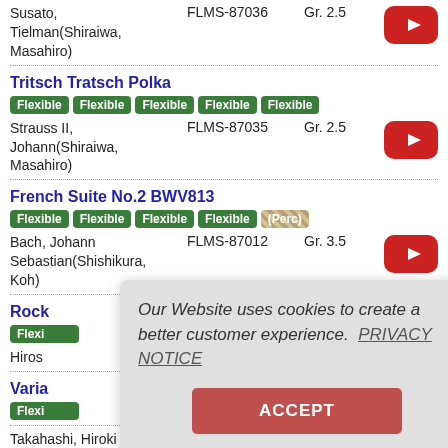Susato, Tielman(Shiraiwa, Masahiro) | FLMS-87036 | Gr. 2.5
Tritsch Tratsch Polka
Flexible Flexible Flexible Flexible Flexible | Strauss II, Johann(Shiraiwa, Masahiro) | FLMS-87035 | Gr. 2.5
French Suite No.2 BWV813
Flexible Flexible Flexible Flexible (Perc) | Bach, Johann Sebastian(Shishikura, Koh) | FLMS-87012 | Gr. 3.5
Rock...
Flexi... | Hiros...
Varia...
Flexi... | Takahashi, Hiroki | FLMS-87096 | Gr. 2
Our Website uses cookies to create a better customer experience. PRIVACY NOTICE
ACCEPT